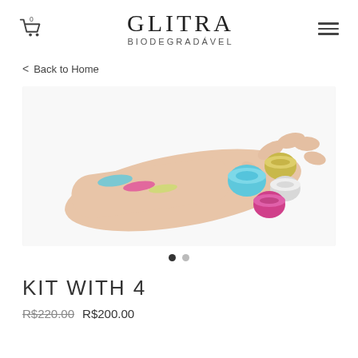GLITRA BIODEGRADÁVEL
< Back to Home
[Figure (photo): A hand holding four circular glitter pots (blue, pink, white, gold/yellow) with colorful glitter swatches on the forearm, on a white background.]
KIT WITH 4
R$220.00  R$200.00